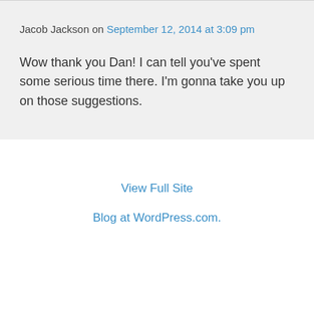Jacob Jackson on September 12, 2014 at 3:09 pm
Wow thank you Dan! I can tell you've spent some serious time there. I'm gonna take you up on those suggestions.
View Full Site
Blog at WordPress.com.